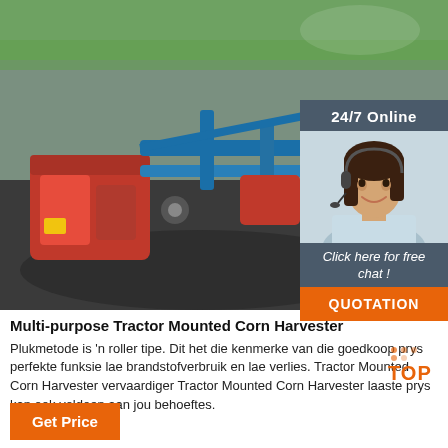[Figure (photo): Tractor Mounted Corn Harvester machinery — red and blue agricultural equipment photographed outdoors]
[Figure (infographic): 24/7 Online chat widget with female customer service agent wearing headset. Buttons: 'Click here for free chat!' and 'QUOTATION']
Multi-purpose Tractor Mounted Corn Harvester
Plukmetode is 'n roller tipe. Dit het die kenmerke van die goedkoop prys perfekte funksie lae brandstofverbruik en lae verlies. Tractor Mounted Corn Harvester vervaardiger Tractor Mounted Corn Harvester laaste prys kan ook voldoen aan jou behoeftes.
[Figure (logo): TOP logo with red dots and orange/red text]
Get Price